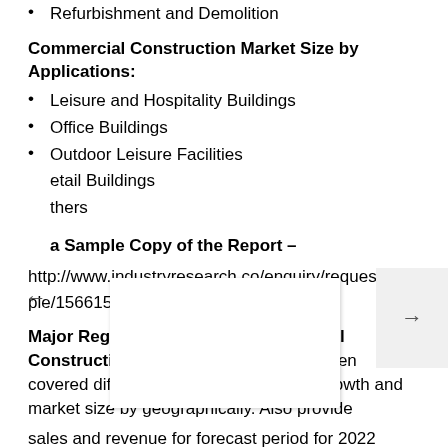Refurbishment and Demolition
Commercial Construction Market Size by Applications:
Leisure and Hospitality Buildings
Office Buildings
Outdoor Leisure Facilities
Retail Buildings
Others
Get a Sample Copy of the Report –
http://www.industryresearch.co/enquiry/request-sample/15661528
Major Regions that's plays Commercial Construction Market:
The report has been covered different elements that shows growth and market size by geographically. Also provide sales and revenue for forecast period for 2022